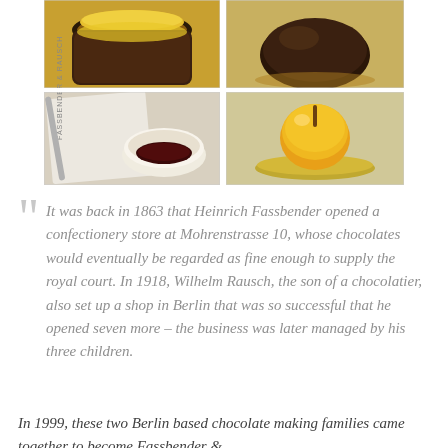[Figure (photo): Four-panel photo collage of chocolate confectionery items: top-left shows a cup with orange/yellow liquid, top-right shows a dark chocolate rounded shape, bottom-left shows a white chocolate cup/bowl with dark filling and a branded paper/napkin reading 'Fassbender & Rausch', bottom-right shows a yellow glazed apple-shaped chocolate on a bed of small golden beads.]
It was back in 1863 that Heinrich Fassbender opened a confectionery store at Mohrenstrasse 10, whose chocolates would eventually be regarded as fine enough to supply the royal court. In 1918, Wilhelm Rausch, the son of a chocolatier, also set up a shop in Berlin that was so successful that he opened seven more – the business was later managed by his three children.
In 1999, these two Berlin based chocolate making families came together to become Fassbender &